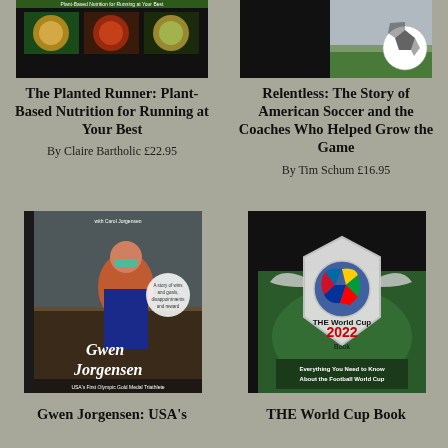[Figure (photo): Book cover: The Planted Runner - Plant-Based Nutrition for Running at Your Best, showing food images]
[Figure (photo): Book cover: Relentless - The Story of American Soccer and the Coaches Who Helped Grow the Game, showing a soccer ball on grass]
The Planted Runner: Plant-Based Nutrition for Running at Your Best
By Claire Bartholic £22.95
Relentless: The Story of American Soccer and the Coaches Who Helped Grow the Game
By Tim Schum £16.95
[Figure (photo): Book cover: Gwen Jorgensen - USA's First Olympic Gold Medal Triathlete]
[Figure (photo): Book cover: THE World Cup 2022 Book - Everything You Need to Know About the Football World Cup]
Gwen Jorgensen: USA's
THE World Cup Book